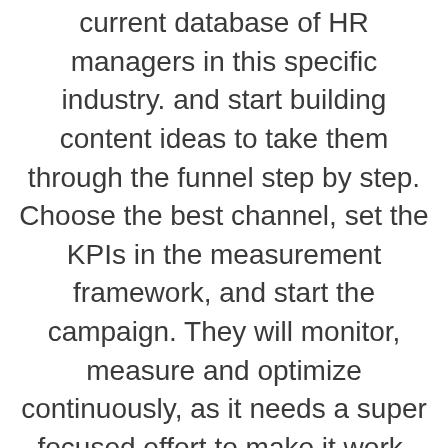current database of HR managers in this specific industry. and start building content ideas to take them through the funnel step by step. Choose the best channel, set the KPIs in the measurement framework, and start the campaign. They will monitor, measure and optimize continuously, as it needs a super focused effort to make it work. Because you have a small audience, any deviation from the journeys you have drawn in the beginning, will impact the campaign outcome.
As easy and cool as it sounds, it needs a very careful thinking of how to create the best content ideas to allure the targeted